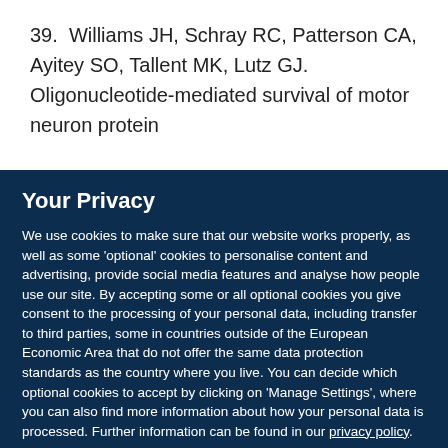39. Williams JH, Schray RC, Patterson CA, Ayitey SO, Tallent MK, Lutz GJ. Oligonucleotide-mediated survival of motor neuron protein
Your Privacy
We use cookies to make sure that our website works properly, as well as some 'optional' cookies to personalise content and advertising, provide social media features and analyse how people use our site. By accepting some or all optional cookies you give consent to the processing of your personal data, including transfer to third parties, some in countries outside of the European Economic Area that do not offer the same data protection standards as the country where you live. You can decide which optional cookies to accept by clicking on 'Manage Settings', where you can also find more information about how your personal data is processed. Further information can be found in our privacy policy.
Accept all cookies
Manage preferences